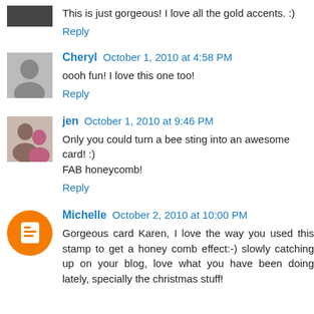This is just gorgeous! I love all the gold accents. :)
Reply
Cheryl  October 1, 2010 at 4:58 PM
oooh fun! I love this one too!
Reply
jen  October 1, 2010 at 9:46 PM
Only you could turn a bee sting into an awesome card! :) FAB honeycomb!
Reply
Michelle  October 2, 2010 at 10:00 PM
Gorgeous card Karen, I love the way you used this stamp to get a honey comb effect:-) slowly catching up on your blog, love what you have been doing lately, specially the christmas stuff!